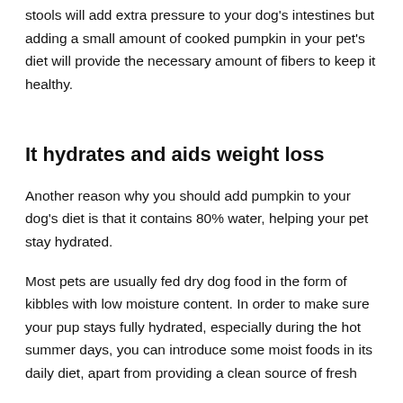stools will add extra pressure to your dog's intestines but adding a small amount of cooked pumpkin in your pet's diet will provide the necessary amount of fibers to keep it healthy.
It hydrates and aids weight loss
Another reason why you should add pumpkin to your dog's diet is that it contains 80% water, helping your pet stay hydrated.
Most pets are usually fed dry dog food in the form of kibbles with low moisture content. In order to make sure your pup stays fully hydrated, especially during the hot summer days, you can introduce some moist foods in its daily diet, apart from providing a clean source of fresh